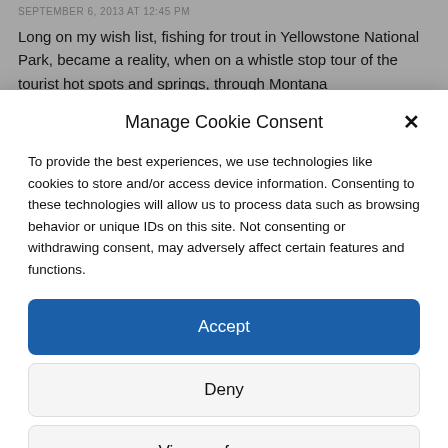SEPTEMBER 6, 2013 AT 12:45 PM
Long on my wish list, fishing for trout in Yellowstone National Park, became a reality, when on a whistle stop tour of the tourist hot spots and springs, through Montana
Manage Cookie Consent
To provide the best experiences, we use technologies like cookies to store and/or access device information. Consenting to these technologies will allow us to process data such as browsing behavior or unique IDs on this site. Not consenting or withdrawing consent, may adversely affect certain features and functions.
Accept
Deny
View preferences
Cookie Policy